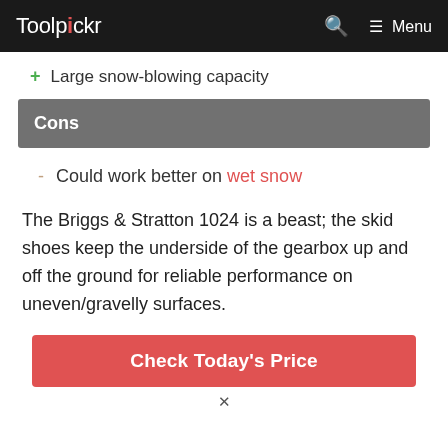Toolpickr  Menu
+ Large snow-blowing capacity
Cons
- Could work better on wet snow
The Briggs & Stratton 1024 is a beast; the skid shoes keep the underside of the gearbox up and off the ground for reliable performance on uneven/gravelly surfaces.
Check Today's Price